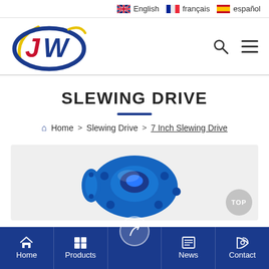English   français   español
[Figure (logo): JW company logo with blue oval and red/blue stylized letters JW, yellow accent stroke]
Home > Slewing Drive > 7 Inch Slewing Drive
SLEWING DRIVE
[Figure (photo): Blue 7 inch slewing drive mechanical component on light grey background]
Home   Products   (contact/enquiry icon)   News   Contact